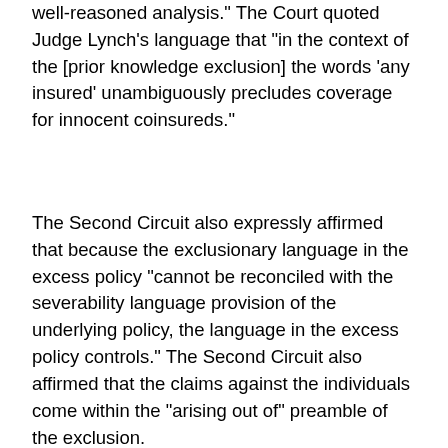well-reasoned analysis." The Court quoted Judge Lynch’s language that "in the context of the [prior knowledge exclusion] the words ‘any insured’ unambiguously precludes coverage for innocent coinsureds."
The Second Circuit also expressly affirmed that because the exclusionary language in the excess policy "cannot be reconciled with the severability language provision of the underlying policy, the language in the excess policy controls." The Second Circuit also affirmed that the claims against the individuals come within the "arising out of" preamble of the exclusion.